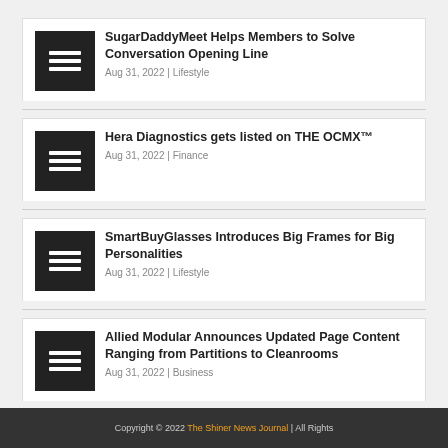SugarDaddyMeet Helps Members to Solve Conversation Opening Line
Aug 31, 2022 | Lifestyle
Hera Diagnostics gets listed on THE OCMX™
Aug 31, 2022 | Finance
SmartBuyGlasses Introduces Big Frames for Big Personalities
Aug 31, 2022 | Lifestyle
Allied Modular Announces Updated Page Content Ranging from Partitions to Cleanrooms
Aug 31, 2022 | Business
Copyright © 2022 The Shiner News Journal All Rights